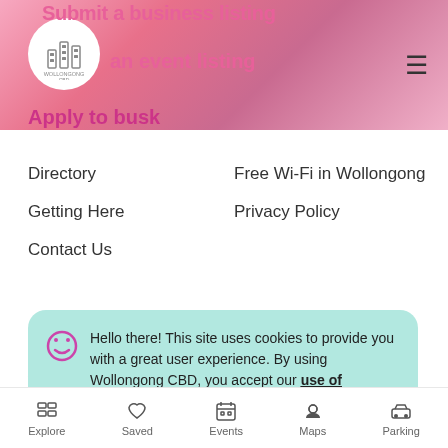[Figure (screenshot): Wollongong CBD website screenshot showing navigation menu, footer links, and cookie consent banner]
Submit a business listing
an event listing
Apply to busk
Directory
Getting Here
Contact Us
Free Wi-Fi in Wollongong
Privacy Policy
Hello there! This site uses cookies to provide you with a great user experience. By using Wollongong CBD, you accept our use of cookies.
Close
wollongong
Explore  Saved  Events  Maps  Parking